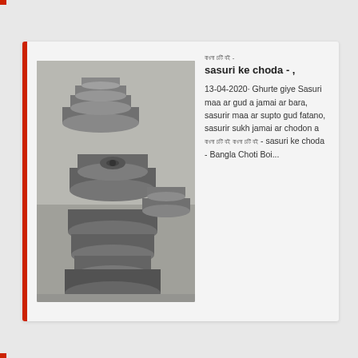[Figure (photo): Photo of stacked industrial metal parts (pulleys/flanges) on a concrete floor, grey metallic components piled together]
বাংলা চটি বই - sasuri ke choda - ,
13-04-2020· Ghurte giye Sasuri maa ar gud a jamai ar bara, sasurir maa ar supto gud fatano, sasurir sukh jamai ar chodon a বাংলা চটি বই - sasuri ke choda - Bangla Choti Boi...